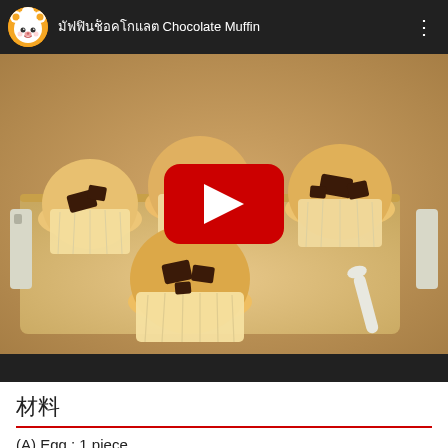[Figure (screenshot): YouTube video screenshot showing a cooking channel. Header bar with channel avatar (cartoon bear with chef hat on orange circle) and title text in Thai characters followed by 'Chocolate Muffin' and a three-dot menu. Below is a thumbnail photo of chocolate chip muffins on a wooden tray with a red YouTube play button overlay. Below the video is a black bar, then white content area with Japanese/Chinese characters heading, a red underline, and text '(A) Egg : 1 piece'.]